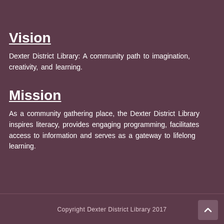Vision
Dexter District Library: A community path to imagination, creativity, and learning.
Mission
As a community gathering place, the Dexter District Library inspires literacy, provides engaging programming, facilitates access to information and serves as a gateway to lifelong learning.
Copyright Dexter District Library 2017